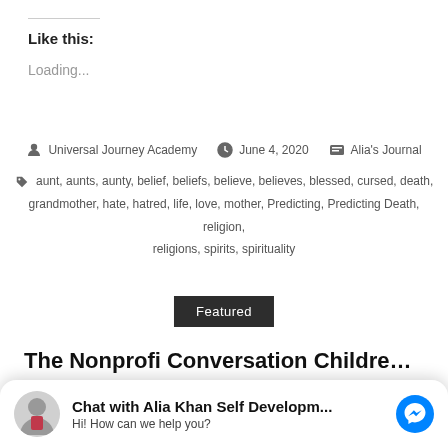Like this:
Loading...
Universal Journey Academy  June 4, 2020  Alia's Journal
aunt, aunts, aunty, belief, beliefs, believe, believes, blessed, cursed, death, grandmother, hate, hatred, life, love, mother, Predicting, Predicting Death, religion, religions, spirits, spirituality
Featured
The Nonprofi Conversation Children of Ali…
sisters Robina Hameed Qureshi and Kausar Qureshi and their
Chat with Alia Khan Self Developm… Hi! How can we help you?